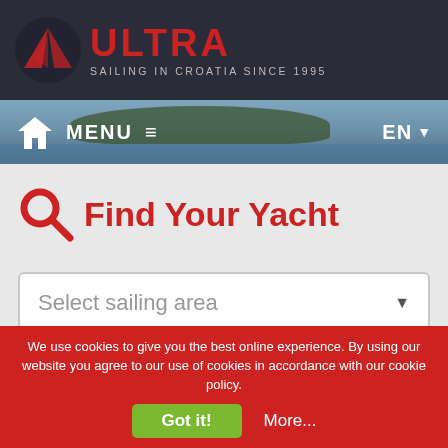[Figure (logo): Ultra Sailing logo with red icon and text 'ULTRA SAILING IN CROATIA SINCE 1995' on dark background header]
MENU ≡   EN ▼
Find Your Yacht
[Figure (screenshot): Dropdown selector: Select sailing area]
[Figure (screenshot): Dropdown selector: Select a category]
We use cookies to give you the best online experience. By using our website you agree to our use of cookies in accordance with our cookie policy.
Got it!   More...